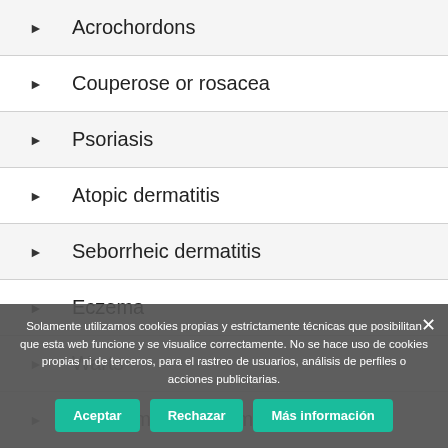Acrochordons
Couperose or rosacea
Psoriasis
Atopic dermatitis
Seborrheic dermatitis
Eczema
Warts
The human papillomavirus (HPV)
Hyperhidrosis or hyperspiration
Solamente utilizamos cookies propias y estrictamente técnicas que posibilitan que esta web funcione y se visualice correctamente. No se hace uso de cookies propias ni de terceros, para el rastreo de usuarios, análisis de perfiles o acciones publicitarias.